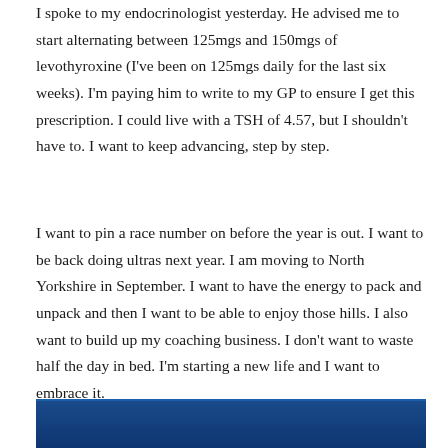I spoke to my endocrinologist yesterday. He advised me to start alternating between 125mgs and 150mgs of levothyroxine (I've been on 125mgs daily for the last six weeks). I'm paying him to write to my GP to ensure I get this prescription. I could live with a TSH of 4.57, but I shouldn't have to. I want to keep advancing, step by step.
I want to pin a race number on before the year is out. I want to be back doing ultras next year. I am moving to North Yorkshire in September. I want to have the energy to pack and unpack and then I want to be able to enjoy those hills. I also want to build up my coaching business. I don't want to waste half the day in bed. I'm starting a new life and I want to embrace it.
[Figure (photo): Blue-toned image strip at the bottom of the page, partially visible]